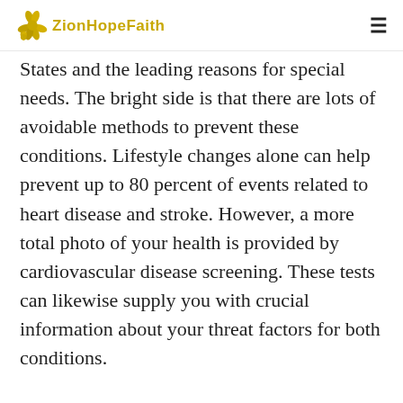ZionHopeFaith
States and the leading reasons for special needs. The bright side is that there are lots of avoidable methods to prevent these conditions. Lifestyle changes alone can help prevent up to 80 percent of events related to heart disease and stroke. However, a more total photo of your health is provided by cardiovascular disease screening. These tests can likewise supply you with crucial information about your threat factors for both conditions.